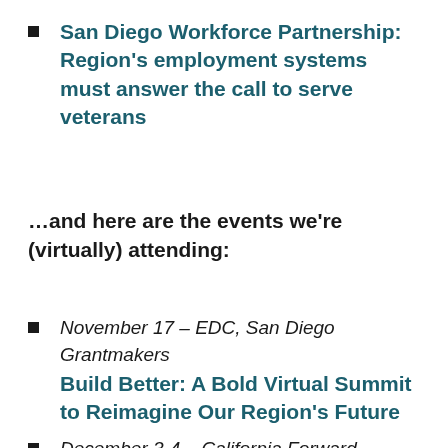San Diego Workforce Partnership: Region's employment systems must answer the call to serve veterans
…and here are the events we're (virtually) attending:
November 17 – EDC, San Diego Grantmakers Build Better: A Bold Virtual Summit to Reimagine Our Region's Future
December 3-4 – California Forward, California Stewardship Network 2020 California Economic Summit